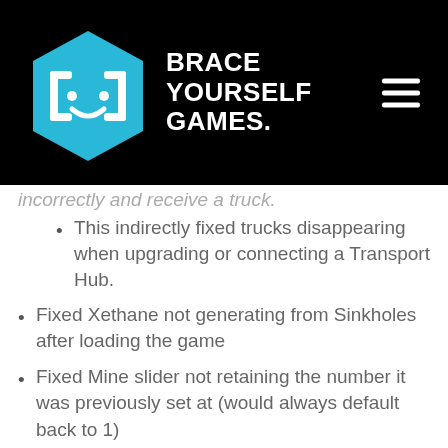Brace Yourself Games.
incorrectly and receive a truck.
This indirectly fixed trucks disappearing when upgrading or connecting a Transport Hub.
Fixed Xethane not generating from Sinkholes after loading the game
Fixed Mine slider not retaining the number it was previously set at (would always default back to 1)
Fixed upgrading and connecting buildings not refreshing adjacent roads, resulting in pathfinding issues from those buildings when using a truck
Fixed storage discrepancies and Employee movement issues when